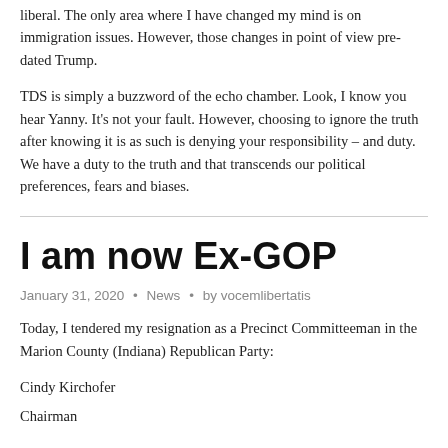liberal. The only area where I have changed my mind is on immigration issues. However, those changes in point of view pre-dated Trump.
TDS is simply a buzzword of the echo chamber. Look, I know you hear Yanny. It's not your fault. However, choosing to ignore the truth after knowing it is as such is denying your responsibility – and duty. We have a duty to the truth and that transcends our political preferences, fears and biases.
I am now Ex-GOP
January 31, 2020 • News • by vocemlibertatis
Today, I tendered my resignation as a Precinct Committeeman in the Marion County (Indiana) Republican Party:
Cindy Kirchofer
Chairman